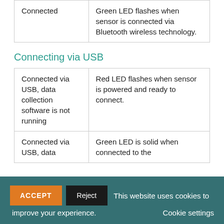| State | LED Indicator |
| --- | --- |
| Connected | Green LED flashes when sensor is connected via Bluetooth wireless technology. |
Connecting via USB
| State | LED Indicator |
| --- | --- |
| Connected via USB, data collection software is not running | Red LED flashes when sensor is powered and ready to connect. |
| Connected via USB, data | Green LED is solid when connected to the |
ACCEPT  Reject  This website uses cookies to improve your experience.  Cookie settings